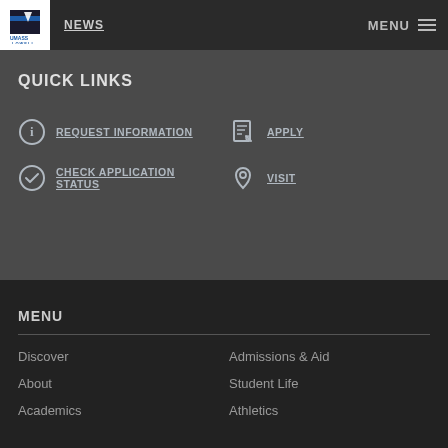NEWS | MENU
QUICK LINKS
REQUEST INFORMATION
APPLY
CHECK APPLICATION STATUS
VISIT
MENU
Discover
Admissions & Aid
About
Student Life
Academics
Athletics